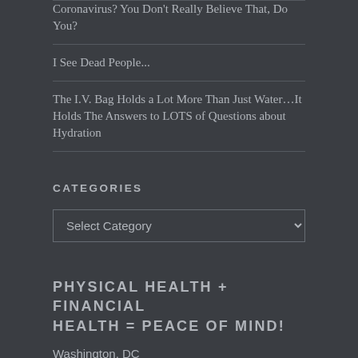Coronavirus? You Don't Really Believe That, Do You?
I See Dead People...
The I.V. Bag Holds a Lot More Than Just Water…It Holds The Answers to LOTS of Questions about Hydration
CATEGORIES
Select Category
PHYSICAL HEALTH + FINANCIAL HEALTH = PEACE OF MIND!
Washington, DC